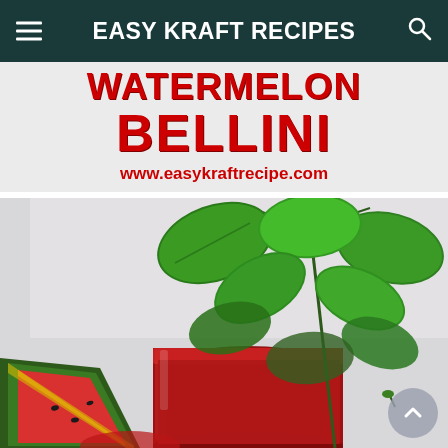EASY KRAFT RECIPES
WATERMELON BELLINI
www.easykraftrecipe.com
[Figure (photo): Close-up photo of a watermelon bellini cocktail in a mason jar with fresh mint leaves and a watermelon wedge garnish on a white background.]